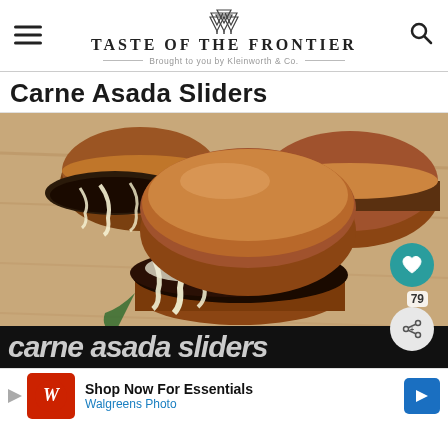TASTE OF THE FRONTIER — Brought to you by Kleinworth & Co.
Carne Asada Sliders
[Figure (photo): Close-up photo of carne asada sliders with melted cheese on pretzel buns, served on a wooden board. Social buttons (heart/share with count 79) visible on right side.]
Shop Now For Essentials — Walgreens Photo (advertisement)